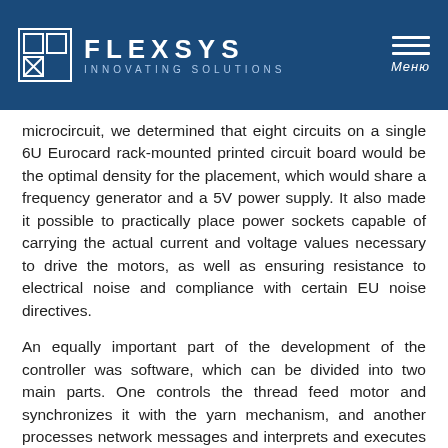FLEXSYS INNOVATING SOLUTIONS
microcircuit, we determined that eight circuits on a single 6U Eurocard rack-mounted printed circuit board would be the optimal density for the placement, which would share a frequency generator and a 5V power supply. It also made it possible to practically place power sockets capable of carrying the actual current and voltage values necessary to drive the motors, as well as ensuring resistance to electrical noise and compliance with certain EU noise directives.
An equally important part of the development of the controller was software, which can be divided into two main parts. One controls the thread feed motor and synchronizes it with the yarn mechanism, and another processes network messages and interprets and executes special commands developed for this project.
At the heart of each controller is a freely adjustable